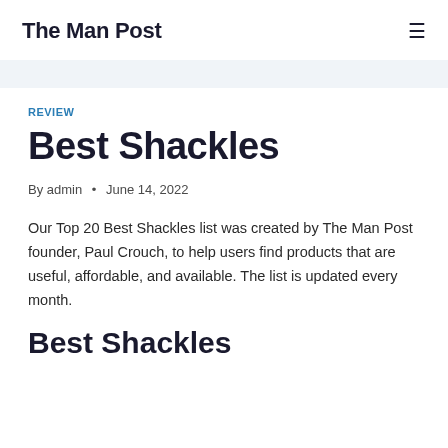The Man Post
REVIEW
Best Shackles
By admin • June 14, 2022
Our Top 20 Best Shackles list was created by The Man Post founder, Paul Crouch, to help users find products that are useful, affordable, and available. The list is updated every month.
Best Shackles